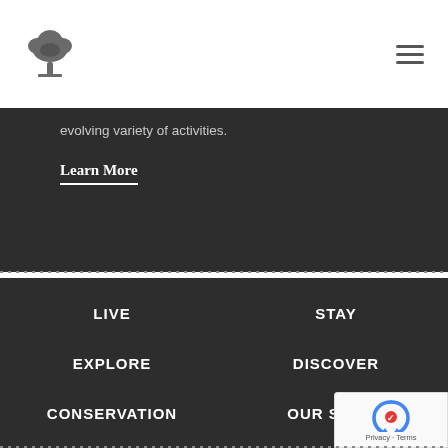[Figure (logo): Tree/palmetto logo icon in dark gray]
[Figure (illustration): Hamburger menu icon (three horizontal lines)]
evolving variety of activities.
Learn More
LIVE
STAY
EXPLORE
DISCOVER
CONSERVATION
OUR STORY
[Figure (logo): Google reCAPTCHA badge with circular arrow logo and Privacy/Terms text]